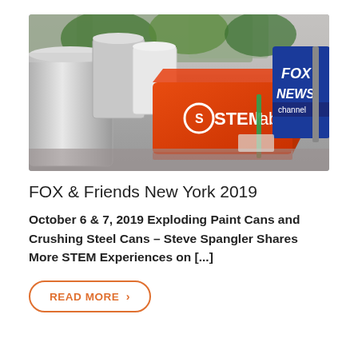[Figure (photo): Photo of a red STEMlab branded box on a metal table, with metal paint cans on the left and a blue Fox News Channel microphone flag on the right. Outdoor setting with greenery in background.]
FOX & Friends New York 2019
October 6 & 7, 2019 Exploding Paint Cans and Crushing Steel Cans – Steve Spangler Shares More STEM Experiences on [...]
READ MORE >